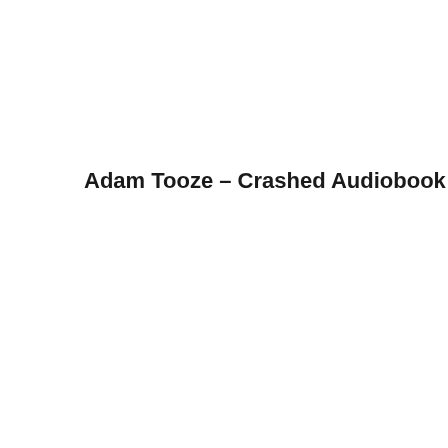Adam Tooze – Crashed Audiobook